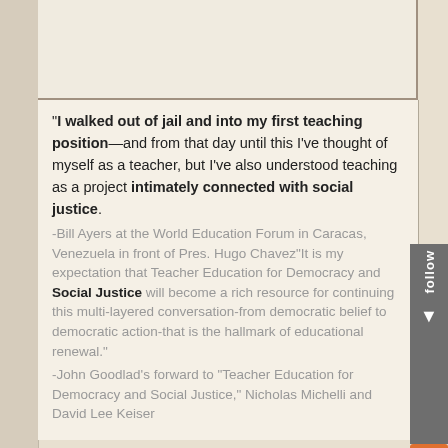-El... LDS...
"In a... man... the...
"I walked out of jail and into my first teaching position—and from that day until this I've thought of myself as a teacher, but I've also understood teaching as a project intimately connected with social justice. -Bill Ayers at the World Education Forum in Caracas, Venezuela in front of Pres. Hugo Chavez"It is my expectation that Teacher Education for Democracy and Social Justice will become a rich resource for continuing this multi-layered conversation-from democratic belief to democratic action-that is the hallmark of educational renewal."
-John Goodlad's forward to "Teacher Education for Democracy and Social Justice," Nicholas Michelli and David Lee Keiser
per-
-Elc
LDS

"I w
pro
gre
thr
acti
of s